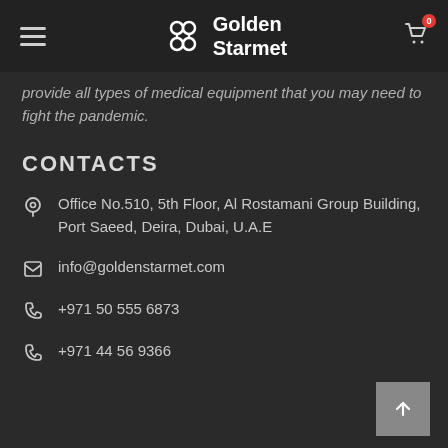Golden Starmet
provide all types of medical equipment that you may need to fight the pandemic.
CONTACTS
Office No.510, 5th Floor, Al Rostamani Group Building, Port Saeed, Deira, Dubai, U.A.E
info@goldenstarmet.com
+971 50 555 6873
+971 44 56 9366